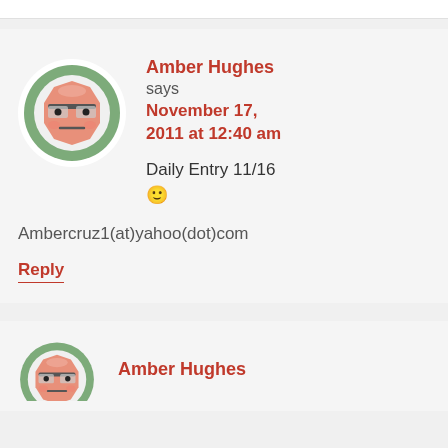[Figure (illustration): Avatar icon of a cartoon face with glasses on a green circular background]
Amber Hughes says November 17, 2011 at 12:40 am
Daily Entry 11/16 🙂
Ambercruz1(at)yahoo(dot)com
Reply
[Figure (illustration): Partial avatar icon of a cartoon face on a green circular background]
Amber Hughes